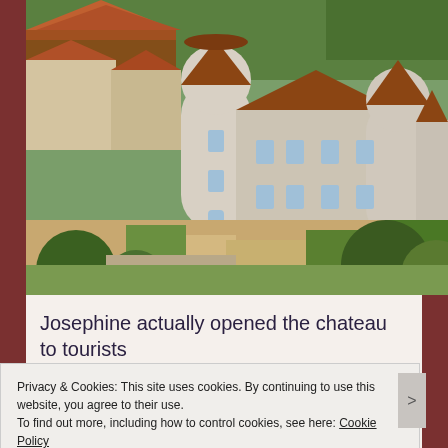[Figure (photo): Aerial view of a French chateau with round towers, stone walls, terracotta roofs, surrounded by gardens and trees]
Josephine actually opened the chateau to tourists so people could come in and see kids of all races
Privacy & Cookies: This site uses cookies. By continuing to use this website, you agree to their use.
To find out more, including how to control cookies, see here: Cookie Policy
Close and accept